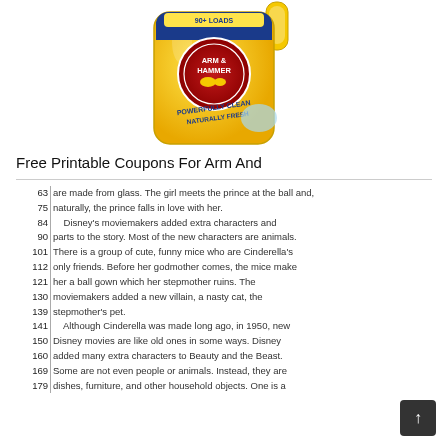[Figure (photo): Arm & Hammer laundry detergent bottle, yellow, large plastic jug with blue and red logo, 'Powerfully Clean Naturally Fresh' text visible]
Free Printable Coupons For Arm And
| Line | Text |
| --- | --- |
| 63 | are made from glass. The girl meets the prince at the ball and, |
| 75 | naturally, the prince falls in love with her. |
| 84 |     Disney's moviemakers added extra characters and |
| 90 | parts to the story. Most of the new characters are animals. |
| 101 | There is a group of cute, funny mice who are Cinderella's |
| 112 | only friends. Before her godmother comes, the mice make |
| 121 | her a ball gown which her stepmother ruins. The |
| 130 | moviemakers added a new villain, a nasty cat, the |
| 139 | stepmother's pet. |
| 141 |     Although Cinderella was made long ago, in 1950, new |
| 150 | Disney movies are like old ones in some ways. Disney |
| 160 | added many extra characters to Beauty and the Beast. |
| 169 | Some are not even people or animals. Instead, they are |
| 179 | dishes, furniture, and other household objects. One is a |